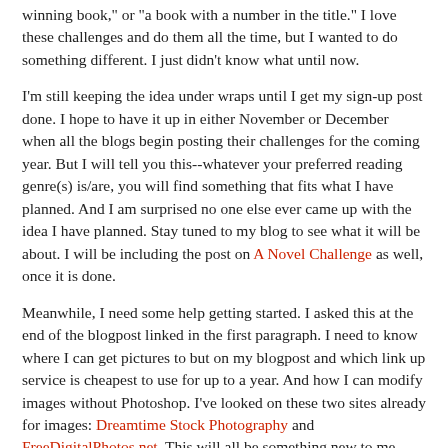winning book," or "a book with a number in the title."  I love these challenges and do them all the time, but I wanted to do something different.  I just didn't know what until now.
I'm still keeping the idea under wraps until I get my sign-up post done.  I hope to have it up in either November or December when all the blogs begin posting their challenges for the coming year.  But I will tell you this--whatever your preferred reading genre(s) is/are, you will find something that fits what I have planned.  And I am surprised no one else ever came up with the idea I have planned.  Stay tuned to my blog to see what it will be about.   I will be including the post on A Novel Challenge as well,  once it is done.
Meanwhile, I need some help getting started. I asked this at the end of the blogpost linked in the first paragraph.  I need to know where I can get pictures to but on my blogpost and which link up service is cheapest to use for up to a year.  And how I can modify images without Photoshop.  I've looked on these two sites already for images: Dreamtime Stock Photography and  FreeDigitalPhotos.net.  This will all be something new to me,  that is why I am planning now.